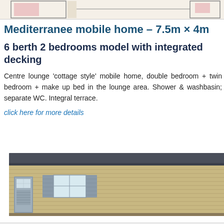[Figure (illustration): Partial floor plan diagram of mobile home showing room layouts with pink-shaded areas, cropped at top of page]
Mediterranee mobile home - 7.5m × 4m
6 berth 2 bedrooms model with integrated decking
Centre lounge 'cottage style' mobile home, double bedroom + twin bedroom + make up bed in the lounge area. Shower & washbasin; separate WC. Integral terrace.
click here for more details
[Figure (illustration): Exterior elevation drawing of a mobile home with tan/beige horizontal siding, dark grey roof, windows with shutters, a door on the left side, and a hitch/wheel visible at bottom right. The unit appears to be the Mediterranee 7.5m x 4m model.]